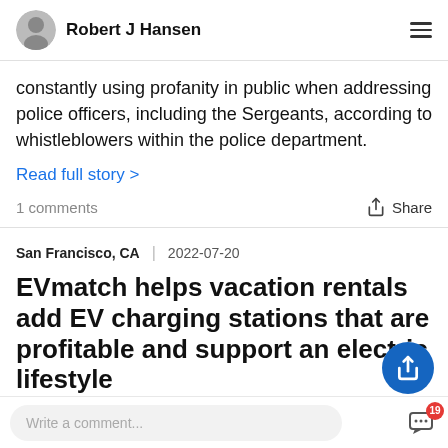Robert J Hansen
constantly using profanity in public when addressing police officers, including the Sergeants, according to whistleblowers within the police department.
Read full story >
1 comments    Share
San Francisco, CA  2022-07-20
EVmatch helps vacation rentals add EV charging stations that are profitable and support an electric lifestyle